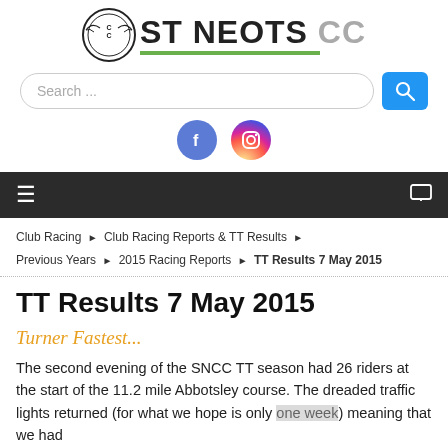ST NEOTS CC
TT Results 7 May 2015
Turner Fastest...
The second evening of the SNCC TT season had 26 riders at the start of the 11.2 mile Abbotsley course. The dreaded traffic lights returned (for what we hope is only one week) meaning that we had